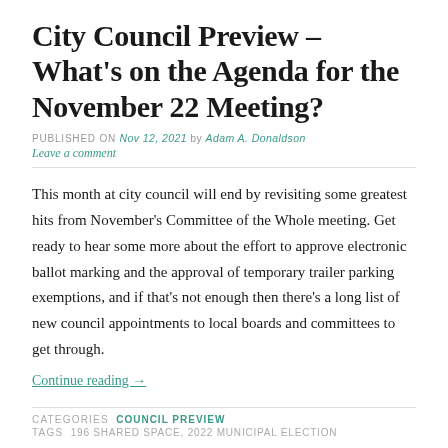City Council Preview – What's on the Agenda for the November 22 Meeting?
PUBLISHED ON Nov 12, 2021 by Adam A. Donaldson
Leave a comment
This month at city council will end by revisiting some greatest hits from November's Committee of the Whole meeting. Get ready to hear some more about the effort to approve electronic ballot marking and the approval of temporary trailer parking exemptions, and if that's not enough then there's a long list of new council appointments to local boards and committees to get through.
Continue reading →
CATEGORIES COUNCIL PREVIEW
TAGS 196 SHARED SPACE, 2022 MUNICIPAL ELECTION